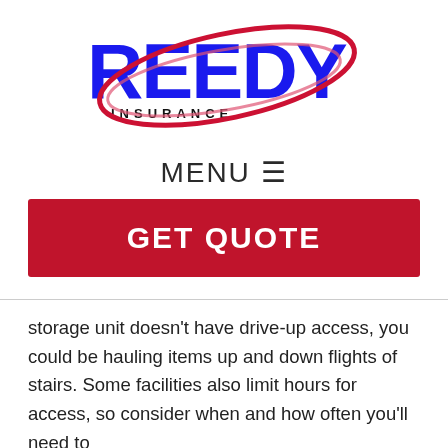[Figure (logo): Reedy Insurance logo with large blue bold REEDY text, INSURANCE subtitle in black, and red/pink swoosh oval graphic overlaid]
MENU ☰
GET QUOTE
storage unit doesn't have drive-up access, you could be hauling items up and down flights of stairs. Some facilities also limit hours for access, so consider when and how often you'll need to